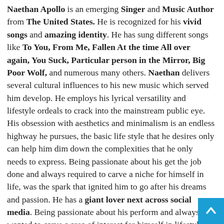Naethan Apollo is an emerging Singer and Music Author from The United States. He is recognized for his vivid songs and amazing identity. He has sung different songs like To You, From Me, Fallen At the time All over again, You Suck, Particular person in the Mirror, Big Poor Wolf, and numerous many others. Naethan delivers several cultural influences to his new music which served him develop. He employs his lyrical versatility and lifestyle ordeals to crack into the mainstream public eye. His obsession with aesthetics and minimalism is an endless highway he pursues, the basic life style that he desires only can help him dim down the complexities that he only needs to express. Being passionate about his get the job done and always required to carve a niche for himself in life, was the spark that ignited him to go after his dreams and passion. He has a giant lover next across social media. Being passionate about his perform and always wanted to carve a area of interest for himself in lifestyle, was the spark that ignited him to go after his goals and enthusiasm. He has been continually dropping new music and developing his admirer foundation